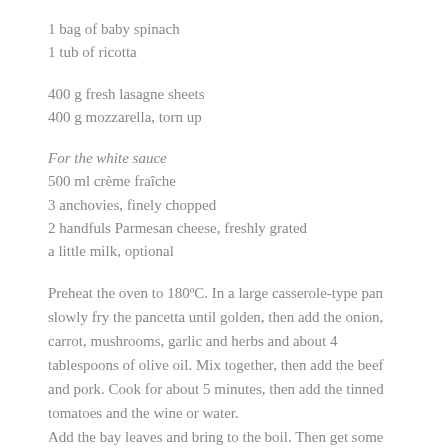1 bag of baby spinach
1 tub of ricotta
400 g fresh lasagne sheets
400 g mozzarella, torn up
For the white sauce
500 ml crème fraîche
3 anchovies, finely chopped
2 handfuls Parmesan cheese, freshly grated
a little milk, optional
Preheat the oven to 180ºC. In a large casserole-type pan slowly fry the pancetta until golden, then add the onion, carrot, mushrooms, garlic and herbs and about 4 tablespoons of olive oil. Mix together, then add the beef and pork. Cook for about 5 minutes, then add the tinned tomatoes and the wine or water.
Add the bay leaves and bring to the boil. Then get some